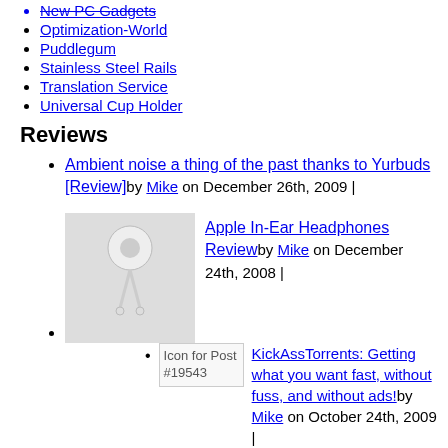New PC Gadgets
Optimization-World
Puddlegum
Stainless Steel Rails
Translation Service
Universal Cup Holder
Reviews
Ambient noise a thing of the past thanks to Yurbuds [Review] by Mike on December 26th, 2009 |
Apple In-Ear Headphones Review by Mike on December 24th, 2008 |
KickAssTorrents: Getting what you want fast, without fuss, and without ads! by Mike on October 24th, 2009 |
Corsair Flash Voyager 32GB (Review) by Mike on March 7th, 2009 |